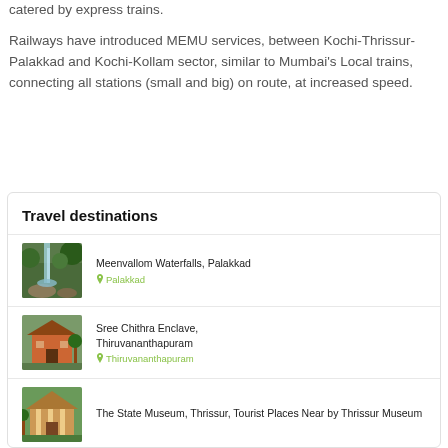catered by express trains.

Railways have introduced MEMU services, between Kochi-Thrissur-Palakkad and Kochi-Kollam sector, similar to Mumbai's Local trains, connecting all stations (small and big) on route, at increased speed.
Travel destinations
Meenvallom Waterfalls, Palakkad
Palakkad
Sree Chithra Enclave, Thiruvananthapuram
Thiruvananthapuram
The State Museum, Thrissur, Tourist Places Near by Thrissur Museum